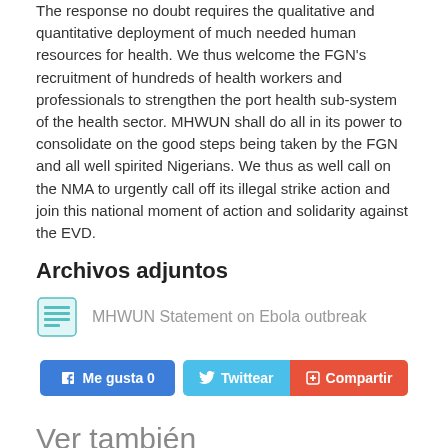The response no doubt requires the qualitative and quantitative deployment of much needed human resources for health. We thus welcome the FGN's recruitment of hundreds of health workers and professionals to strengthen the port health sub-system of the health sector. MHWUN shall do all in its power to consolidate on the good steps being taken by the FGN and all well spirited Nigerians. We thus as well call on the NMA to urgently call off its illegal strike action and join this national moment of action and solidarity against the EVD.
Archivos adjuntos
[Figure (other): Document/attachment icon for MHWUN Statement on Ebola outbreak]
MHWUN Statement on Ebola outbreak
[Figure (other): Social sharing buttons: Me gusta 0 (Facebook), Twittear (Twitter), Compartir (share)]
Ver también
Dos mil trabajadoras y trabajadores municipales de los servicios de limpieza